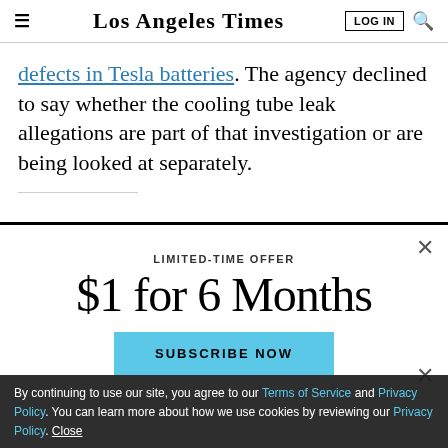Los Angeles Times — LOG IN | Search
defects in Tesla batteries. The agency declined to say whether the cooling tube leak allegations are part of that investigation or are being looked at separately.
[Figure (infographic): Subscription modal overlay: LIMITED-TIME OFFER $1 for 6 Months with SUBSCRIBE NOW button]
By continuing to use our site, you agree to our Terms of Service and Privacy Policy. You can learn more about how we use cookies by reviewing our Privacy Policy. Close